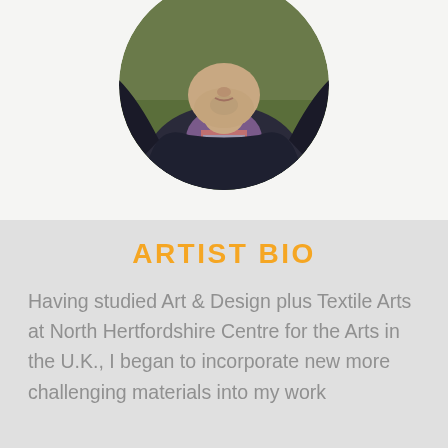[Figure (photo): Circular cropped portrait photo of a person wearing a purple turtleneck and dark jacket, shown from chin/neck area up, set against a light background]
ARTIST BIO
Having studied Art & Design plus Textile Arts at North Hertfordshire Centre for the Arts in the U.K., I began to incorporate new more challenging materials into my work